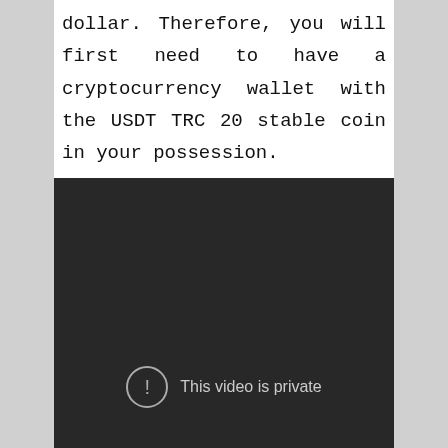dollar. Therefore, you will first need to have a cryptocurrency wallet with the USDT TRC 20 stable coin in your possession.
[Figure (screenshot): A dark video embed placeholder with an exclamation mark icon in a circle and the text 'This video is private']